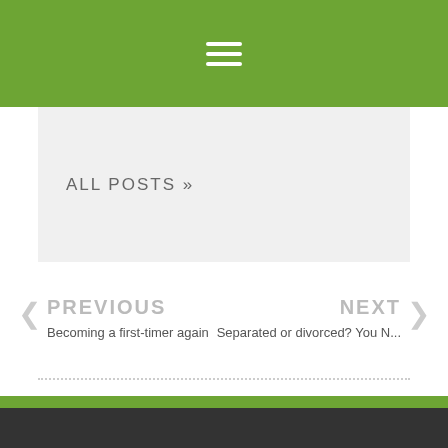☰ (hamburger menu icon)
ALL POSTS »
PREVIOUS
Becoming a first-timer again
NEXT
Separated or divorced? You N...